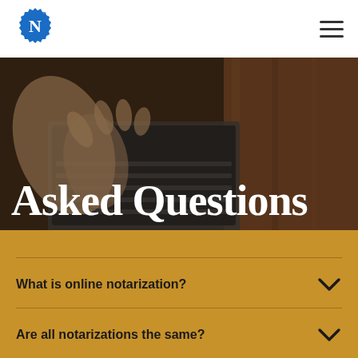[Figure (logo): Blue notary badge logo with white letter N in the center, with 'TM' mark]
[Figure (photo): Close-up photo of hands typing on a laptop keyboard on a wooden desk, dark moody lighting]
Asked Questions
What is online notarization?
Are all notarizations the same?